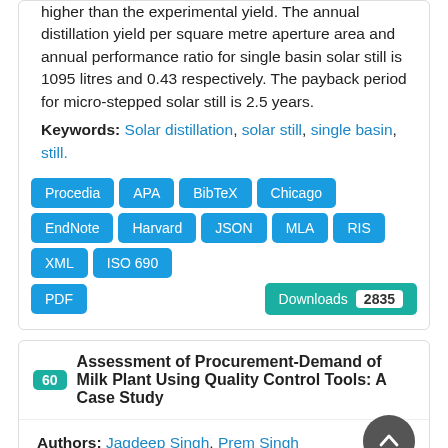higher than the experimental yield. The annual distillation yield per square metre aperture area and annual performance ratio for single basin solar still is 1095 litres and 0.43 respectively. The payback period for micro-stepped solar still is 2.5 years.
Keywords: Solar distillation, solar still, single basin, still.
Procedia APA BibTeX Chicago EndNote Harvard JSON MLA RIS XML ISO 690 PDF Downloads 2835
60 Assessment of Procurement-Demand of Milk Plant Using Quality Control Tools: A Case Study
Authors: Jagdeep Singh, Prem Singh